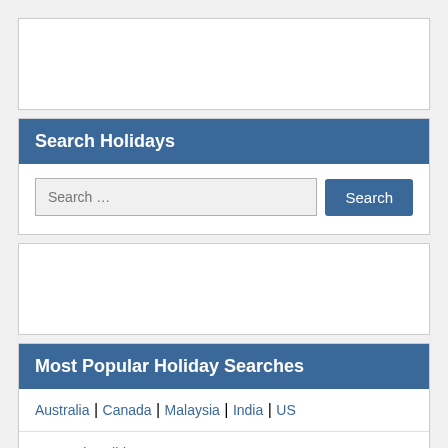[Figure (other): Advertisement banner box (top)]
Search Holidays
[Figure (other): Search input field with Search button]
[Figure (other): Advertisement banner box (middle)]
Most Popular Holiday Searches
Australia | Canada | Malaysia | India | US
US Bank Holidays 2020